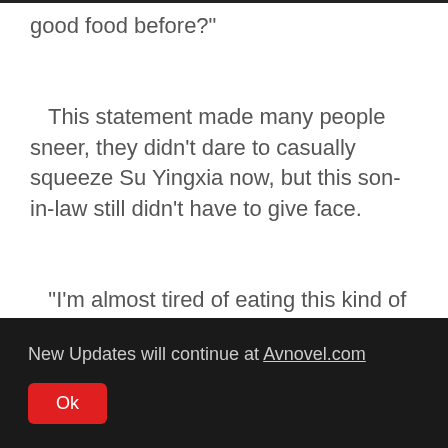good food before?"
This statement made many people sneer, they didn't dare to casually squeeze Su Yingxia now, but this son-in-law still didn't have to give face.
"I'm almost tired of eating this kind of mountain and sea food."
New Updates will continue at Avnovel.com
Ok